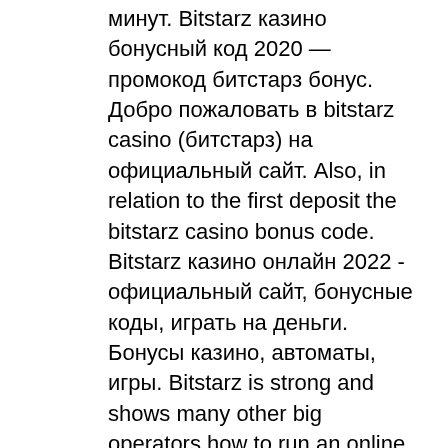минут. Bitstarz казино бонусный код 2020 — промокод битстарз бонус. Добро пожаловать в bitstarz casino (битстарз) на официальный сайт. Also, in relation to the first deposit the bitstarz casino bonus code. Bitstarz казино онлайн 2022 - официальный сайт, бонусные коды, играть на деньги. Бонусы казино, автоматы, игры. Bitstarz is strong and shows many other big operators how to run an online casino. Especially the handling, i. The quality of the customer support, has. Verified bitstarz online casino review based on real players reviews, including best slots, bonus codes, casino deals and best top rating. Битстарз казино официальный сайт зеркало контрольчестности. Greenwasher forum - profil du membre &gt; activité page. Utilisateur: bitstarz казино вход, bitstarz регистрация официальный сайт, titre: new member